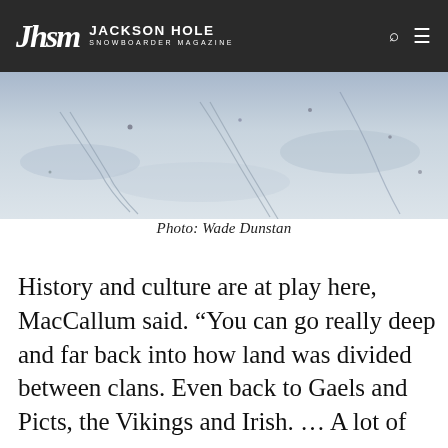JHSM JACKSON HOLE SNOWBOARDER MAGAZINE
[Figure (photo): Aerial/wide snow slope photograph with snowboard tracks in white snow, blue-gray tones]
Photo: Wade Dunstan
History and culture are at play here, MacCallum said. “You can go really deep and far back into how land was divided between clans. Even back to Gaels and Picts, the Vikings and Irish. … A lot of